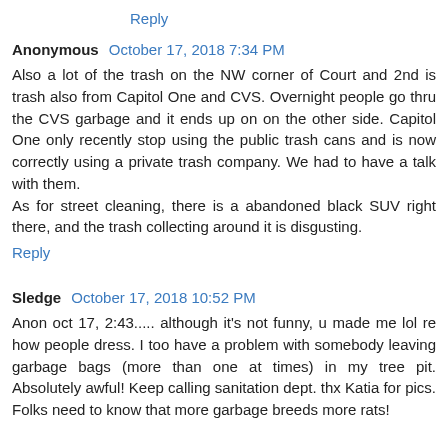Reply
Anonymous  October 17, 2018 7:34 PM
Also a lot of the trash on the NW corner of Court and 2nd is trash also from Capitol One and CVS. Overnight people go thru the CVS garbage and it ends up on on the other side. Capitol One only recently stop using the public trash cans and is now correctly using a private trash company. We had to have a talk with them.
As for street cleaning, there is a abandoned black SUV right there, and the trash collecting around it is disgusting.
Reply
Sledge  October 17, 2018 10:52 PM
Anon oct 17, 2:43..... although it's not funny, u made me lol re how people dress. I too have a problem with somebody leaving garbage bags (more than one at times) in my tree pit. Absolutely awful! Keep calling sanitation dept. thx Katia for pics. Folks need to know that more garbage breeds more rats!